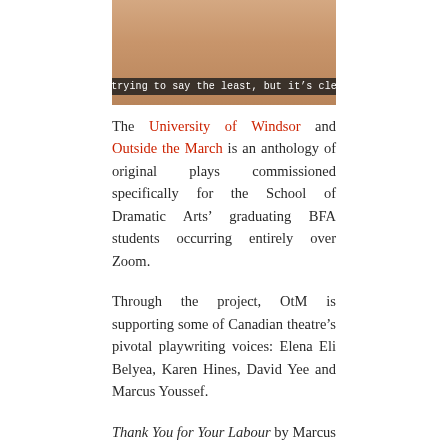[Figure (photo): Cropped photo of a person, partially visible torso/neck area. A dark semi-transparent caption bar overlays the bottom reading: 'She is trying to say the least, but it's clear that']
The University of Windsor and Outside the March is an anthology of original plays commissioned specifically for the School of Dramatic Arts' graduating BFA students occurring entirely over Zoom.
Through the project, OtM is supporting some of Canadian theatre's pivotal playwriting voices: Elena Eli Belyea, Karen Hines, David Yee and Marcus Youssef.
Thank You for Your Labour by Marcus Youssef A group of white students is organizing an